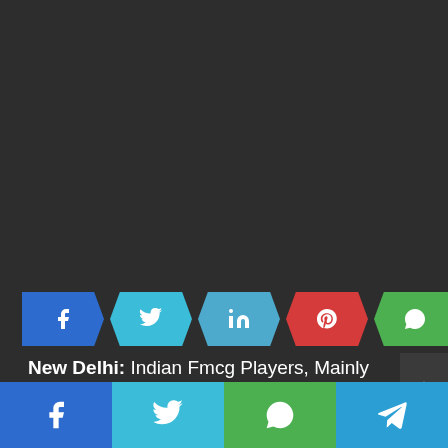[Figure (other): Dark background area taking up top portion of page]
[Figure (infographic): Social media share buttons row: Facebook (blue), Twitter (cyan), LinkedIn (cyan), Pinterest (red), WhatsApp (green) — chevron/arrow shaped buttons]
New Delhi: Indian Fmcg Players, Mainly Meals And Snacks Manufacturers, Have Stated They May Be Worried
[Figure (infographic): Bottom share bar with four buttons: Facebook (blue), Twitter (cyan), WhatsApp (green), Telegram (blue)]